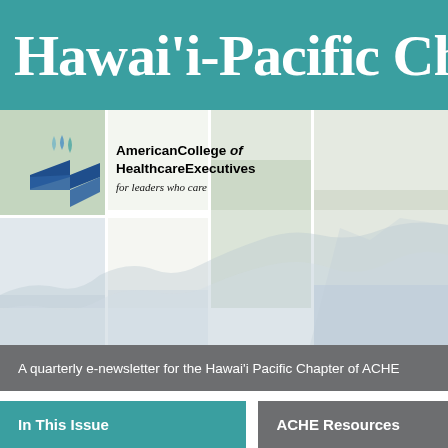Hawai'i-Pacific Cha
[Figure (logo): American College of Healthcare Executives logo with blue flame and arrow icon, colorful mosaic tile background with mountain silhouette watercolor illustration]
AmericanCollege of HealthcareExecutives
for leaders who care
A quarterly e-newsletter for the Hawai'i Pacific Chapter of ACHE
In This Issue
ACHE Resources